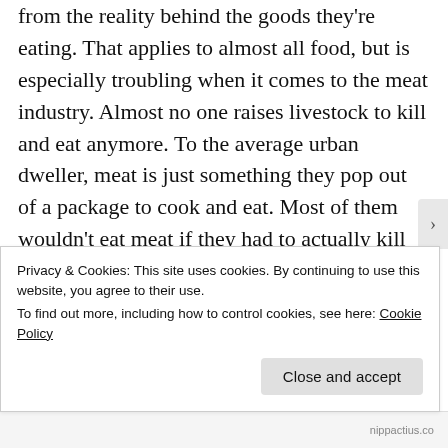from the reality behind the goods they're eating. That applies to almost all food, but is especially troubling when it comes to the meat industry. Almost no one raises livestock to kill and eat anymore. To the average urban dweller, meat is just something they pop out of a package to cook and eat. Most of them wouldn't eat meat if they had to actually kill some creature to get it. I base that conclusion on the hypocritical repulsion so many
Privacy & Cookies: This site uses cookies. By continuing to use this website, you agree to their use.
To find out more, including how to control cookies, see here: Cookie Policy
Close and accept